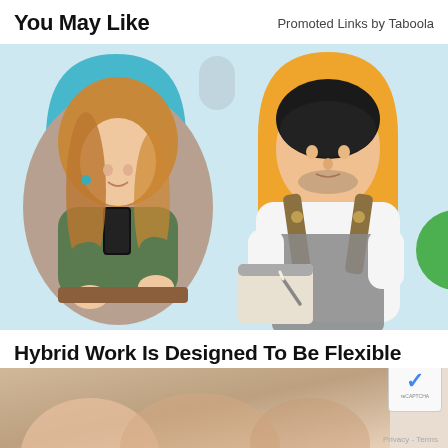You May Like
Promoted Links by Taboola
[Figure (photo): Taboola sponsored ad image showing two people: a woman looking at her phone on a light blue background, and a man wearing an apron writing on a clipboard on an orange/yellow background.]
Hybrid Work Is Designed To Be Flexible And Inclusive.
Insider
Learn More
[Figure (photo): Partial bottom image, appears to show hands or a person, cropped and mostly out of frame.]